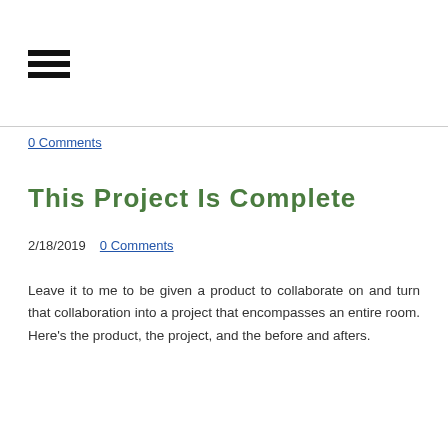[Figure (other): Hamburger menu icon — three horizontal black bars]
0 Comments
This Project Is Complete
2/18/2019  0 Comments
Leave it to me to be given a product to collaborate on and turn that collaboration into a project that encompasses an entire room. Here's the product, the project, and the before and afters.